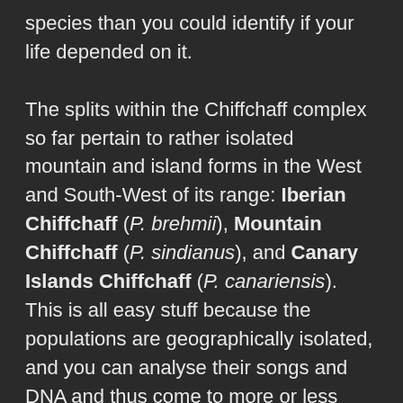species than you could identify if your life depended on it. The splits within the Chiffchaff complex so far pertain to rather isolated mountain and island forms in the West and South-West of its range: Iberian Chiffchaff (P. brehmii), Mountain Chiffchaff (P. sindianus), and Canary Islands Chiffchaff (P. canariensis). This is all easy stuff because the populations are geographically isolated, and you can analyse their songs and DNA and thus come to more or less convincing conclusions.